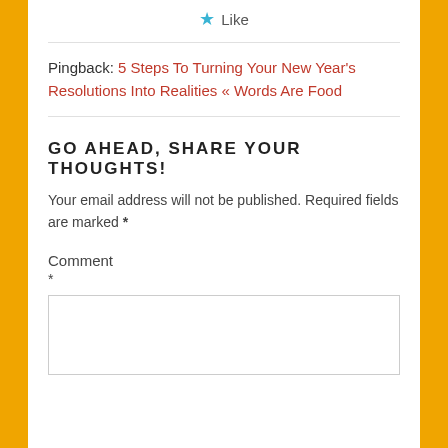★ Like
Pingback: 5 Steps To Turning Your New Year's Resolutions Into Realities « Words Are Food
GO AHEAD, SHARE YOUR THOUGHTS!
Your email address will not be published. Required fields are marked *
Comment
*